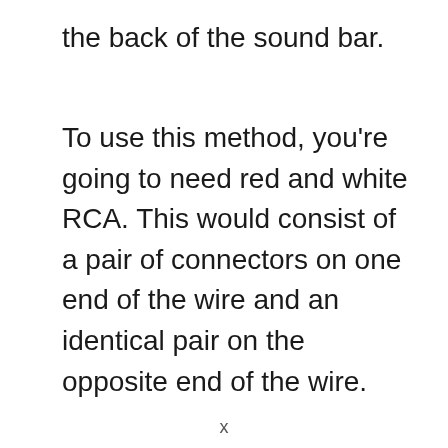the back of the sound bar.
To use this method, you’re going to need red and white RCA. This would consist of a pair of connectors on one end of the wire and an identical pair on the opposite end of the wire.